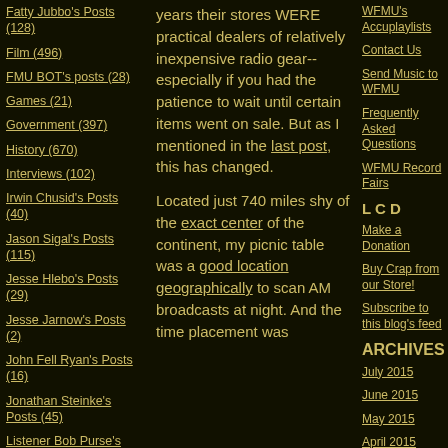Fatty Jubbo's Posts (128)
Film (496)
FMU BOT's posts (28)
Games (21)
Government (397)
History (670)
Interviews (102)
Irwin Chusid's Posts (40)
Jason Sigal's Posts (115)
Jesse Hlebo's Posts (29)
Jesse Jarnow's Posts (2)
John Fell Ryan's Posts (16)
Jonathan Steinke's Posts (45)
Listener Bob Purse's Posts (198)
Listener Fodder's Posts (14)
Listener Crea's Posts
years their stores WERE practical dealers of relatively inexpensive radio gear-- especially if you had the patience to wait until certain items went on sale. But as I mentioned in the last post, this has changed.
Located just 740 miles shy of the exact center of the continent, my picnic table was a good location geographically to scan AM broadcasts at night. And the time placement was
WFMU's Accuplaylists
Contact Us
Send Music to WFMU
Frequently Asked Questions
WFMU Record Fairs
L C D
Make a Donation
Buy Crap from our Store!
Subscribe to this blog's feed
ARCHIVES
July 2015
June 2015
May 2015
April 2015
March 2015
February 2015